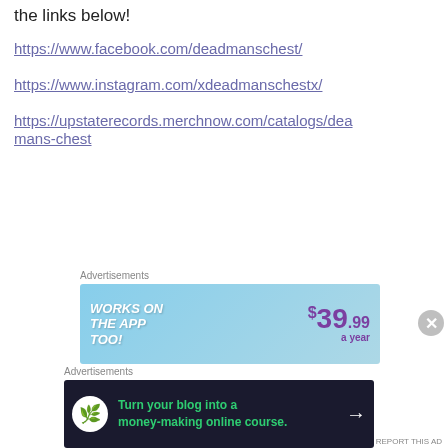the links below!
https://www.facebook.com/deadmanschest/
https://www.instagram.com/xdeadmanschestx/
https://upstaterecords.merchnow.com/catalogs/deadmans-chest
[Figure (other): Advertisement banner: light blue background with 'WORKS ON THE APP TOO!' text in white italic bold on left, and '$39.99 a year' price in purple on right]
[Figure (other): Advertisement banner: dark navy background with circular white icon showing a tree/person silhouette, green text 'Turn your blog into a money-making online course.' with white arrow button on right]
REPORT THIS AD